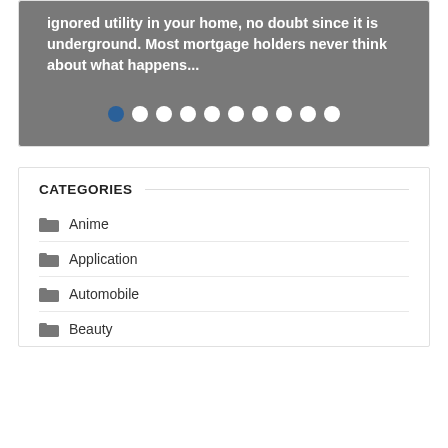ignored utility in your home, no doubt since it is underground. Most mortgage holders never think about what happens...
[Figure (other): Slideshow pagination dots — 10 dots total, first dot is filled blue (active), remaining 9 are white]
CATEGORIES
Anime
Application
Automobile
Beauty